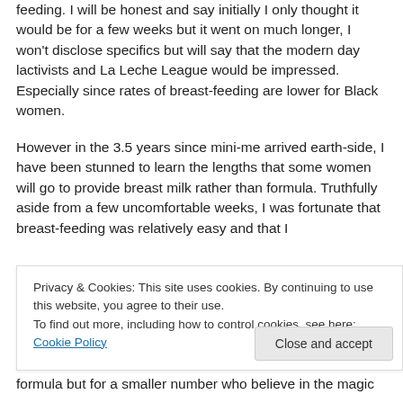feeding. I will be honest and say initially I only thought it would be for a few weeks but it went on much longer, I won't disclose specifics but will say that the modern day lactivists and La Leche League would be impressed. Especially since rates of breast-feeding are lower for Black women.
However in the 3.5 years since mini-me arrived earth-side, I have been stunned to learn the lengths that some women will go to provide breast milk rather than formula. Truthfully aside from a few uncomfortable weeks, I was fortunate that breast-feeding was relatively easy and that I
Privacy & Cookies: This site uses cookies. By continuing to use this website, you agree to their use.
To find out more, including how to control cookies, see here: Cookie Policy
formula but for a smaller number who believe in the magic